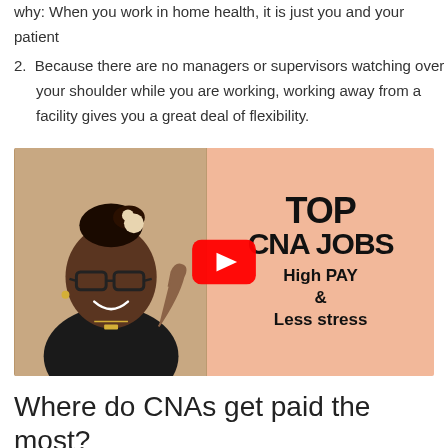why: When you work in home health, it is just you and your patient
Because there are no managers or supervisors watching over your shoulder while you are working, working away from a facility gives you a great deal of flexibility.
[Figure (screenshot): YouTube video thumbnail showing a smiling woman with glasses on the left, and text on the right reading 'TOP CNA JOBS High PAY & Less stress' on a peach/salmon background, with a YouTube play button overlay.]
Where do CNAs get paid the most?